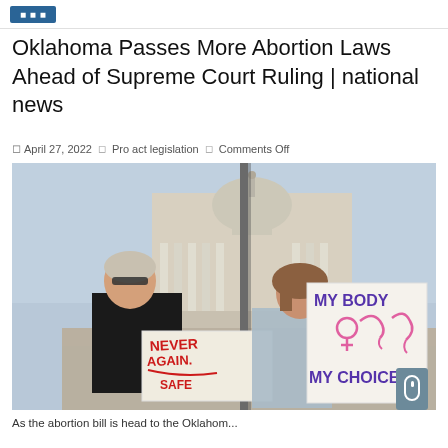Oklahoma Passes More Abortion Laws Ahead of Supreme Court Ruling | national news
April 27, 2022  Pro act legislation  Comments Off
[Figure (photo): Two women standing outside a government building (Oklahoma State Capitol) holding protest signs. One sign reads 'NEVER AGAIN SAFE' in red handwriting, the other reads 'MY BODY MY CHOICE' in large purple block letters with a pink female symbol illustration.]
As the abortion bill is head to the Oklahom...